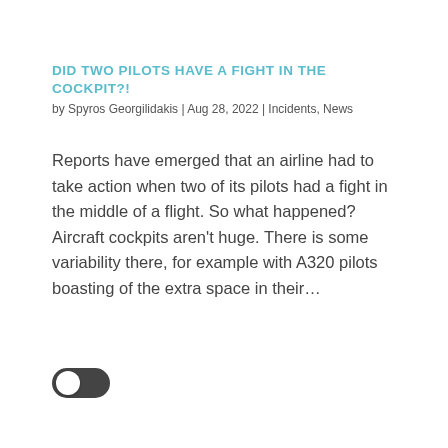DID TWO PILOTS HAVE A FIGHT IN THE COCKPIT?!
by Spyros Georgilidakis | Aug 28, 2022 | Incidents, News
Reports have emerged that an airline had to take action when two of its pilots had a fight in the middle of a flight. So what happened? Aircraft cockpits aren't huge. There is some variability there, for example with A320 pilots boasting of the extra space in their...
[Figure (other): A toggle switch UI element in the off/left position, with white thumb on left and dark track.]